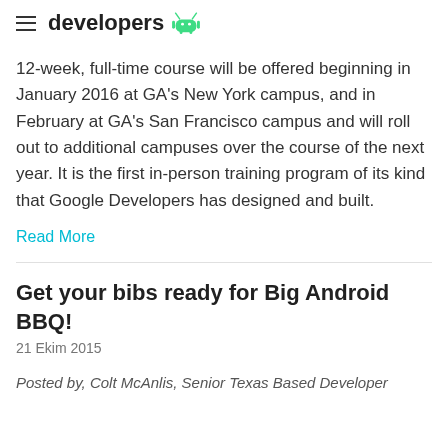developers
12-week, full-time course will be offered beginning in January 2016 at GA's New York campus, and in February at GA's San Francisco campus and will roll out to additional campuses over the course of the next year. It is the first in-person training program of its kind that Google Developers has designed and built.
Read More
Get your bibs ready for Big Android BBQ!
21 Ekim 2015
Posted by, Colt McAnlis, Senior Texas Based Developer